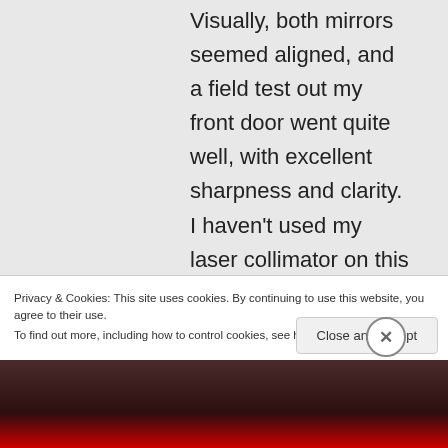Visually, both mirrors seemed aligned, and a field test out my front door went quite well, with excellent sharpness and clarity. I haven't used my laser collimator on this particular telescope yet, but the secondary mirror
Privacy & Cookies: This site uses cookies. By continuing to use this website, you agree to their use.
To find out more, including how to control cookies, see here: Cookie Policy